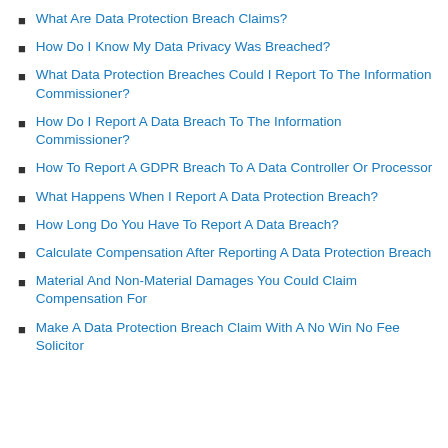What Are Data Protection Breach Claims?
How Do I Know My Data Privacy Was Breached?
What Data Protection Breaches Could I Report To The Information Commissioner?
How Do I Report A Data Breach To The Information Commissioner?
How To Report A GDPR Breach To A Data Controller Or Processor
What Happens When I Report A Data Protection Breach?
How Long Do You Have To Report A Data Breach?
Calculate Compensation After Reporting A Data Protection Breach
Material And Non-Material Damages You Could Claim Compensation For
Make A Data Protection Breach Claim With A No Win No Fee Solicitor